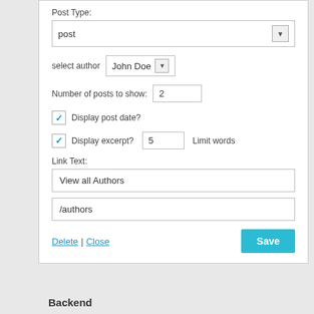Post Type:
[Figure (screenshot): Dropdown select box showing 'post']
select author   John Doe (dropdown)
Number of posts to show: 2
☑ Display post date?
☑ Display excerpt?  5  Limit words
Link Text:
[Figure (screenshot): Text input field showing 'View all Authors']
[Figure (screenshot): Text input field showing '/authors']
Delete | Close
Save
Backend
[Figure (screenshot): Two thumbnail images side by side: a light-colored form screenshot and a dark-themed author profile screenshot]